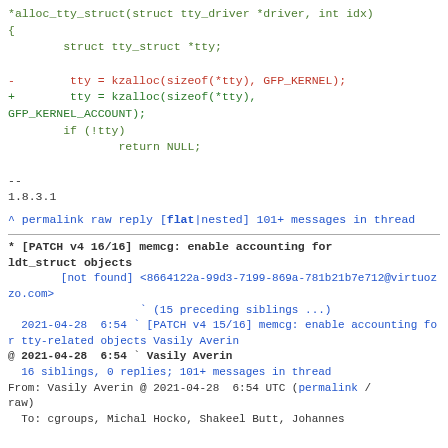*alloc_tty_struct(struct tty_driver *driver, int idx)
{
        struct tty_struct *tty;

-        tty = kzalloc(sizeof(*tty), GFP_KERNEL);
+        tty = kzalloc(sizeof(*tty),
GFP_KERNEL_ACCOUNT);
        if (!tty)
                return NULL;

--
1.8.3.1
^ permalink raw reply    [flat|nested] 101+ messages in thread
* [PATCH v4 16/16] memcg: enable accounting for ldt_struct objects
        [not found] <8664122a-99d3-7199-869a-781b21b7e712@virtuozzo.com>
                    ` (15 preceding siblings ...)
  2021-04-28  6:54 ` [PATCH v4 15/16] memcg: enable accounting for tty-related objects Vasily Averin
@ 2021-04-28  6:54 ` Vasily Averin
  16 siblings, 0 replies; 101+ messages in thread
From: Vasily Averin @ 2021-04-28  6:54 UTC (permalink / raw)
To: cgroups, Michal Hocko, Shakeel Butt, Johannes